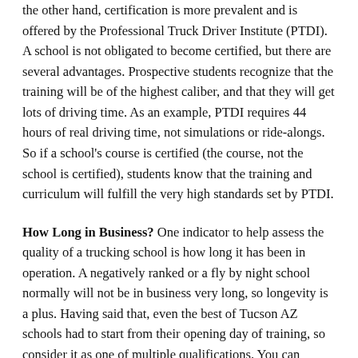the other hand, certification is more prevalent and is offered by the Professional Truck Driver Institute (PTDI). A school is not obligated to become certified, but there are several advantages. Prospective students recognize that the training will be of the highest caliber, and that they will get lots of driving time. As an example, PTDI requires 44 hours of real driving time, not simulations or ride-alongs. So if a school's course is certified (the course, not the school is certified), students know that the training and curriculum will fulfill the very high standards set by PTDI.
How Long in Business? One indicator to help assess the quality of a trucking school is how long it has been in operation. A negatively ranked or a fly by night school normally will not be in business very long, so longevity is a plus. Having said that, even the best of Tucson AZ schools had to start from their opening day of training, so consider it as one of multiple qualifications. You can